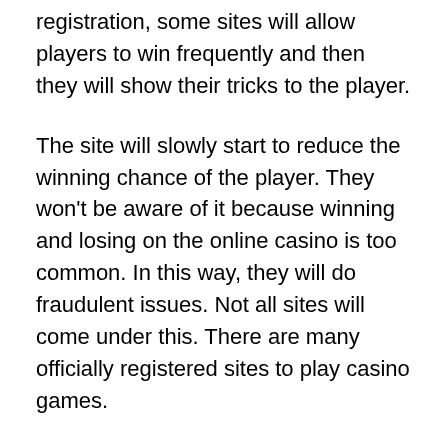registration, some sites will allow players to win frequently and then they will show their tricks to the player.
The site will slowly start to reduce the winning chance of the player. They won't be aware of it because winning and losing on the online casino is too common. In this way, they will do fraudulent issues. Not all sites will come under this. There are many officially registered sites to play casino games.
One among them is casino stellare. Here they have got registration from the government and while reading terms and conditions on their site we can note this point. At the same time, the accounts will be linked to the national banks so even a person resulting their income or loss action. The the the it is